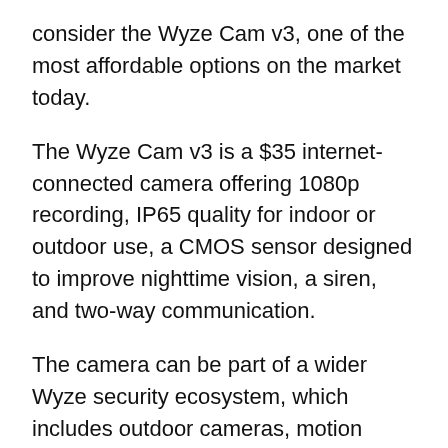consider the Wyze Cam v3, one of the most affordable options on the market today.
The Wyze Cam v3 is a $35 internet-connected camera offering 1080p recording, IP65 quality for indoor or outdoor use, a CMOS sensor designed to improve nighttime vision, a siren, and two-way communication.
The camera can be part of a wider Wyze security ecosystem, which includes outdoor cameras, motion sensors, leak sensors, keypads, and entry monitors.
Pros
Additional security products on offer to